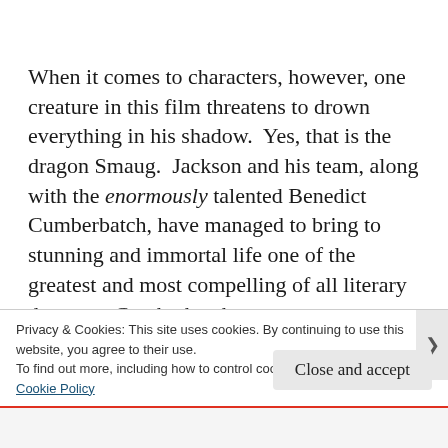When it comes to characters, however, one creature in this film threatens to drown everything in his shadow.  Yes, that is the dragon Smaug.  Jackson and his team, along with the enormously talented Benedict Cumberbatch, have managed to bring to stunning and immortal life one of the greatest and most compelling of all literary dragons.  Cumberbatch manages to capture all of the elements of Smaug that make
Privacy & Cookies: This site uses cookies. By continuing to use this website, you agree to their use.
To find out more, including how to control cookies, see here: Cookie Policy
Close and accept